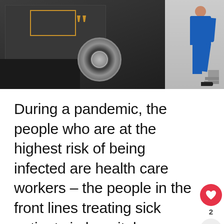[Figure (photo): A dark truck/vehicle with a large chrome wheel visible, an orange quotation mark and orange rectangle overlay on the left side, and a person in blue work uniform stepping off steps on the right side against a gray garage background.]
During a pandemic, the people who are at the highest risk of being infected are health care workers – the people in the front lines treating sick patients in hospitals. Ending their shifts and coming home to be with their families used to be a reward, but during these unsettling times, it has become a ... Read more